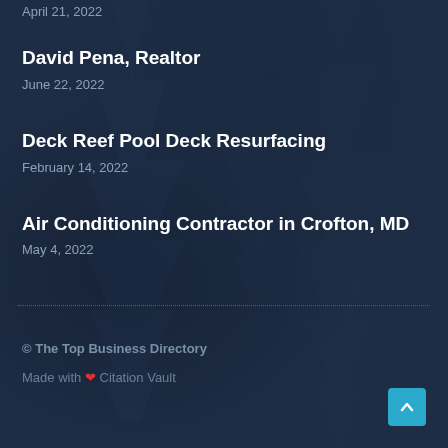April 21, 2022
David Pena, Realtor
June 22, 2022
Deck Reef Pool Deck Resurfacing
February 14, 2022
Air Conditioning Contractor in Crofton, MD
May 4, 2022
© The Top Business Directory
Made with ❤ Citation Vault